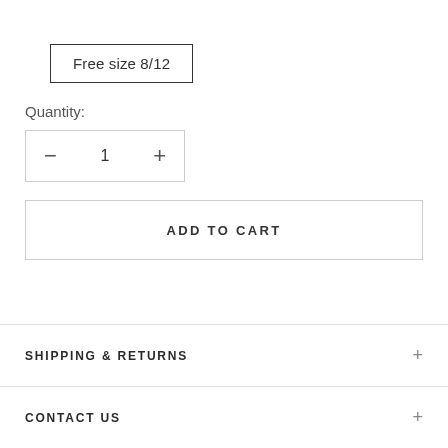Free size 8/12
Quantity:
− 1 +
ADD TO CART
SHIPPING & RETURNS
CONTACT US